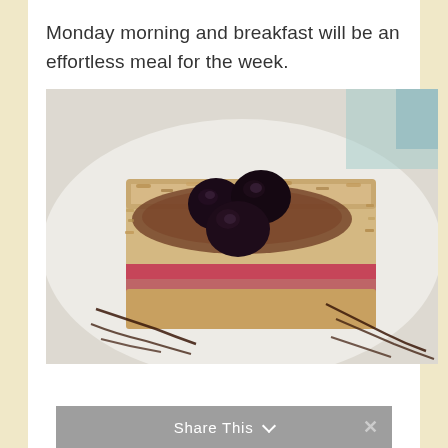Monday morning and breakfast will be an effortless meal for the week.
[Figure (photo): A serving of baked oatmeal or breakfast bar topped with dark cherries and drizzled with chocolate sauce, served on a white plate with decorative chocolate drizzle lines.]
Share This  ×